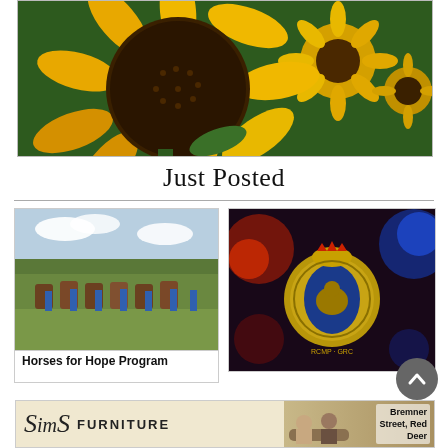[Figure (photo): Close-up photo of sunflowers with yellow petals and dark brown centers against a green bokeh background]
Just Posted
[Figure (photo): Group photo of people on horseback and standing in a field, promoting the Horses for Hope Program]
Horses for Hope Program
[Figure (photo): RCMP badge/crest against a dark background with police lights (red and blue bokeh)]
[Figure (logo): Sims Furniture advertisement banner with logo and text 'Bremner Street, Red Deer']